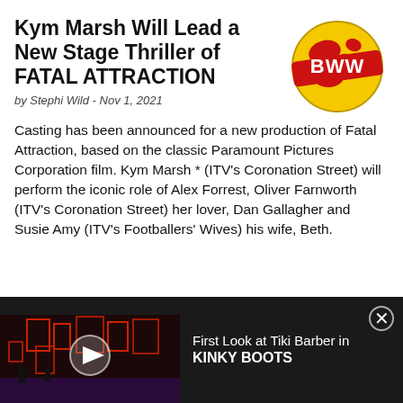Kym Marsh Will Lead a New Stage Thriller of FATAL ATTRACTION
by Stephi Wild - Nov 1, 2021
[Figure (logo): BWW (BroadwayWorld) logo — red globe with yellow continents and a red banner reading BWW in white bold text]
Casting has been announced for a new production of Fatal Attraction, based on the classic Paramount Pictures Corporation film. Kym Marsh * (ITV's Coronation Street) will perform the iconic role of Alex Forrest, Oliver Farnworth (ITV's Coronation Street) her lover, Dan Gallagher and Susie Amy (ITV's Footballers' Wives) his wife, Beth.
[Figure (screenshot): Dark theatre stage with red lighting showing a set with geometric red shapes. A video play button (white triangle) is overlaid. Text to the right reads: First Look at Tiki Barber in KINKY BOOTS]